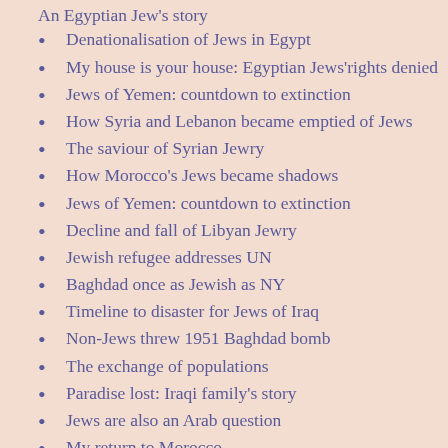An Egyptian Jew's story
Denationalisation of Jews in Egypt
My house is your house: Egyptian Jews'rights denied
Jews of Yemen: countdown to extinction
How Syria and Lebanon became emptied of Jews
The saviour of Syrian Jewry
How Morocco's Jews became shadows
Jews of Yemen: countdown to extinction
Decline and fall of Libyan Jewry
Jewish refugee addresses UN
Baghdad once as Jewish as NY
Timeline to disaster for Jews of Iraq
Non-Jews threw 1951 Baghdad bomb
The exchange of populations
Paradise lost: Iraqi family's story
Jews are also an Arab question
My return to Morocco
My right of return - by a Tunisian Jew